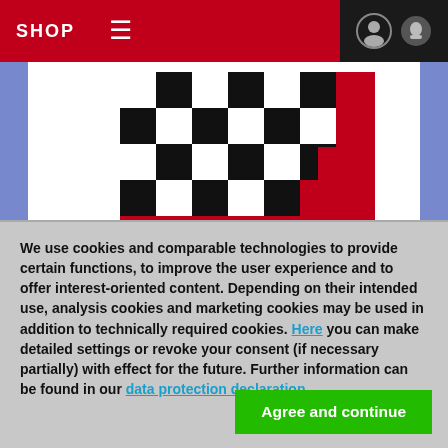SHOP
[Figure (logo): ChessBase logo — red square with black-and-white checkerboard pattern in top-left corner, 'ChessBase' text in white, with a large black angular checkmark/swoosh shape below]
We use cookies and comparable technologies to provide certain functions, to improve the user experience and to offer interest-oriented content. Depending on their intended use, analysis cookies and marketing cookies may be used in addition to technically required cookies. Here you can make detailed settings or revoke your consent (if necessary partially) with effect for the future. Further information can be found in our data protection declaration.